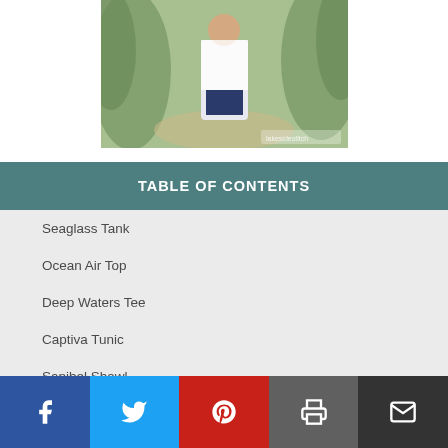[Figure (photo): Person standing outdoors among tropical plants, wearing a white patterned outfit]
TABLE OF CONTENTS
Seaglass Tank
Ocean Air Top
Deep Waters Tee
Captiva Tunic
Sanibel Shawl
Simple Day Trip Cover Up
Shell Cobbler Cover...